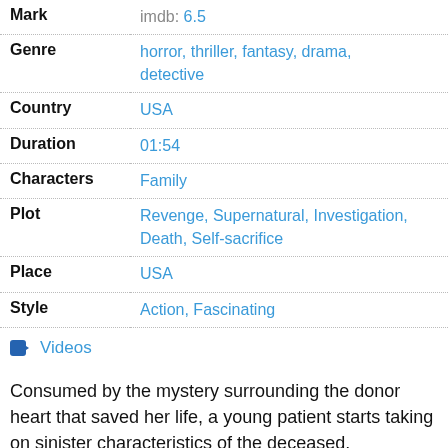| Field | Value |
| --- | --- |
| Mark | imdb: 6.5 |
| Genre | horror, thriller, fantasy, drama, detective |
| Country | USA |
| Duration | 01:54 |
| Characters | Family |
| Plot | Revenge, Supernatural, Investigation, Death, Self-sacrifice |
| Place | USA |
| Style | Action, Fascinating |
Videos
Consumed by the mystery surrounding the donor heart that saved her life, a young patient starts taking on sinister characteristics of the deceased.
Similar
Dissimilar